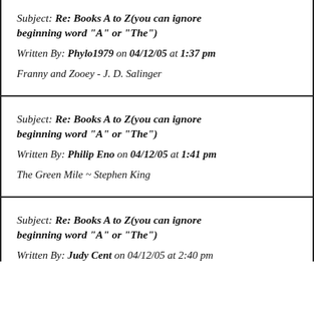Subject: Re: Books A to Z(you can ignore beginning word "A" or "The")
Written By: Phylo1979 on 04/12/05 at 1:37 pm
Franny and Zooey - J. D. Salinger
Subject: Re: Books A to Z(you can ignore beginning word "A" or "The")
Written By: Philip Eno on 04/12/05 at 1:41 pm
The Green Mile ~ Stephen King
Subject: Re: Books A to Z(you can ignore beginning word "A" or "The")
Written By: Judy Cent on 04/12/05 at 2:40 pm